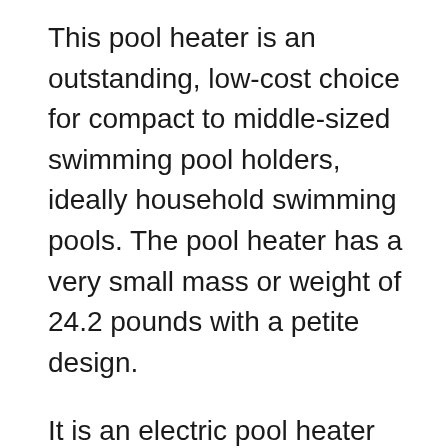This pool heater is an outstanding, low-cost choice for compact to middle-sized swimming pool holders, ideally household swimming pools. The pool heater has a very small mass or weight of 24.2 pounds with a petite design.
It is an electric pool heater that can increase the temperature of 15,000 gallons of swimming pool water by 5 degrees Fahrenheit in 7 hours. Although, it can also be utilized with other heaters to assemble them quicker.
Because of emplacement, it is completely simple. This pool heater is both climate-friendly